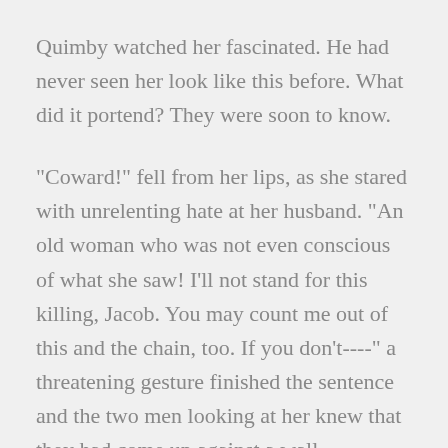Quimby watched her fascinated. He had never seen her look like this before. What did it portend? They were soon to know.
"Coward!" fell from her lips, as she stared with unrelenting hate at her husband. "An old woman who was not even conscious of what she saw! I'll not stand for this killing, Jacob. You may count me out of this and the chain, too. If you don't----" a threatening gesture finished the sentence and the two men looking at her knew that they had come up against a wall.